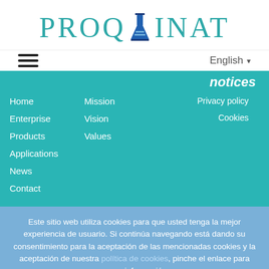[Figure (logo): PROQVINAT logo with teal text and a flask/test tube icon between Q and I]
☰  English ▾
notices
Home
Enterprise
Products
Applications
News
Contact
Mission
Vision
Values
Privacy policy
Cookies
Este sitio web utiliza cookies para que usted tenga la mejor experiencia de usuario. Si continúa navegando está dando su consentimiento para la aceptación de las mencionadas cookies y la aceptación de nuestra política de cookies, pinche el enlace para mayor información.
plugin cookies
ACEPTAR